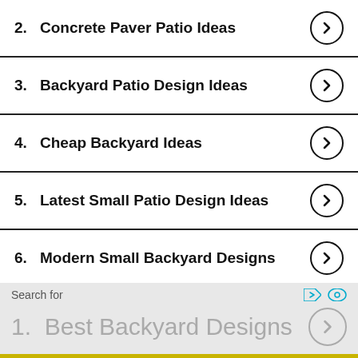2. Concrete Paver Patio Ideas
3. Backyard Patio Design Ideas
4. Cheap Backyard Ideas
5. Latest Small Patio Design Ideas
6. Modern Small Backyard Designs
Search for
1. Best Backyard Designs